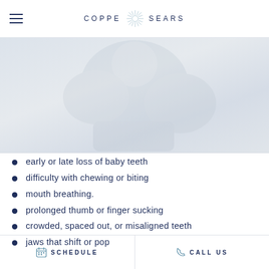COPPE SEARS
[Figure (photo): Faded/watermarked background photo of a child, very low opacity, serving as a decorative background image behind the list content.]
early or late loss of baby teeth
difficulty with chewing or biting
mouth breathing.
prolonged thumb or finger sucking
crowded, spaced out, or misaligned teeth
jaws that shift or pop
SCHEDULE   CALL US